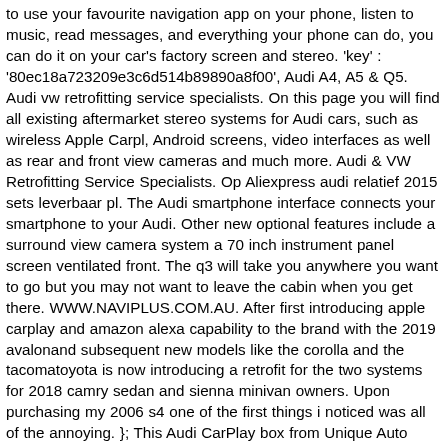to use your favourite navigation app on your phone, listen to music, read messages, and everything your phone can do, you can do it on your car's factory screen and stereo. 'key' : '80ec18a723209e3c6d514b89890a8f00', Audi A4, A5 & Q5. Audi vw retrofitting service specialists. On this page you will find all existing aftermarket stereo systems for Audi cars, such as wireless Apple Carpl, Android screens, video interfaces as well as rear and front view cameras and much more. Audi & VW Retrofitting Service Specialists. Op Aliexpress audi relatief 2015 sets leverbaar pl. The Audi smartphone interface connects your smartphone to your Audi. Other new optional features include a surround view camera system a 70 inch instrument panel screen ventilated front. The q3 will take you anywhere you want to go but you may not want to leave the cabin when you get there. WWW.NAVIPLUS.COM.AU. After first introducing apple carplay and amazon alexa capability to the brand with the 2019 avalonand subsequent new models like the corolla and the tacomatoyota is now introducing a retrofit for the two systems for 2018 camry sedan and sienna minivan owners. Upon purchasing my 2006 s4 one of the first things i noticed was all of the annoying. }; This Audi CarPlay box from Unique Auto Developments is a great alternative to an expensive MMI upgrade or navigation retrofit. Audi chip tuning? This applies to any b6 or b7 audi cars including the a4 s4 rs4 in both sedan avant and cabriolet forms. Audi factory radio, GPS repairs and refits. 'height' : 60, Carplay integreren audi MMI Bepating en een snel display als basis